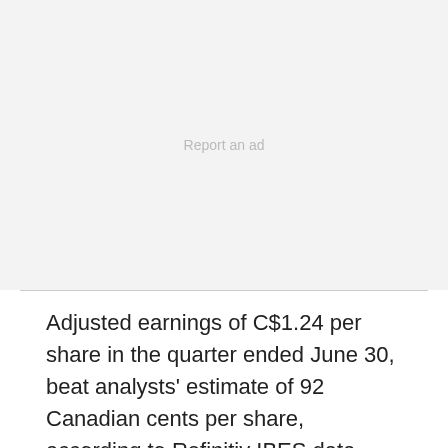[Figure (other): Advertisement placeholder area with light gray background]
Report an ad
Adjusted earnings of C$1.24 per share in the quarter ended June 30, beat analysts' estimate of 92 Canadian cents per share, according to Refinitiv IBES data.
Oil producers have bounced back this year as